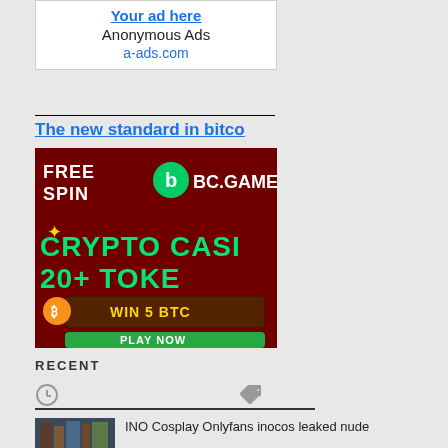Your ad here
Anonymous Ads
a-ads.com
The new standard in bitco
[Figure (screenshot): BC.GAME crypto casino advertisement banner showing FREE SPIN, BC.GAME logo, CRYPTO CASINO, 20+ TOKENS text, WIN 5 BTC, and PLAY NOW button on dark red background]
RECENT
[Figure (screenshot): Thumbnail image of bookshelf]
INO Cosplay Onlyfans inocos leaked nude